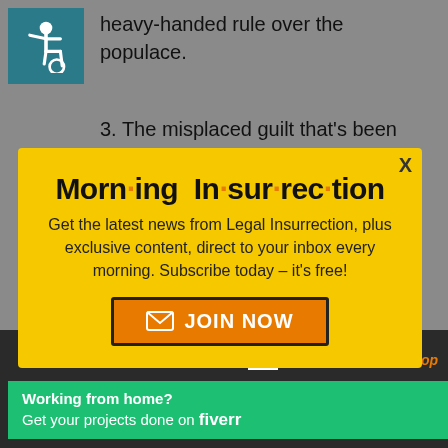[Figure (illustration): Accessibility wheelchair icon on teal/dark cyan background]
heavy-handed rule over the populace.
3. The misplaced guilt that's been cultivated by Western leftists for a
[Figure (infographic): Morning Insurrection email signup modal popup on yellow background with orange dot separators in title. Contains text: Get the latest news from Legal Insurrection, plus exclusive content, direct to your inbox every morning. Subscribe today – it's free! JOIN NOW button in orange. X close button top right.]
accompanied condescension. It
[Figure (infographic): X close button (white background with bold X) over dark background]
[Figure (infographic): Fiverr green banner advertisement: Working from home? Get your projects done on fiverr]
failed to create them.